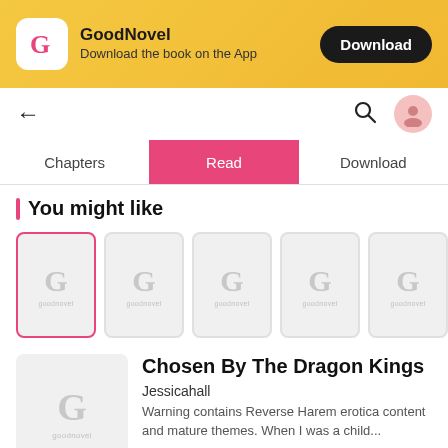[Figure (screenshot): GoodNovel app banner with logo, app name, tagline 'Download the book on the App', and Download button]
[Figure (screenshot): Navigation bar with back arrow, search icon, and user avatar]
[Figure (screenshot): Tab bar with three tabs: Chapters, Read (active/selected in pink), Download]
You might like
[Figure (screenshot): Row of 5 book cover placeholder cards with GoodNovel G logo; first card is selected with pink border]
[Figure (screenshot): Book detail section showing placeholder cover thumbnail and book info]
Chosen By The Dragon Kings
Jessicahall
Warning contains Reverse Harem erotica content and mature themes. When I was a child...